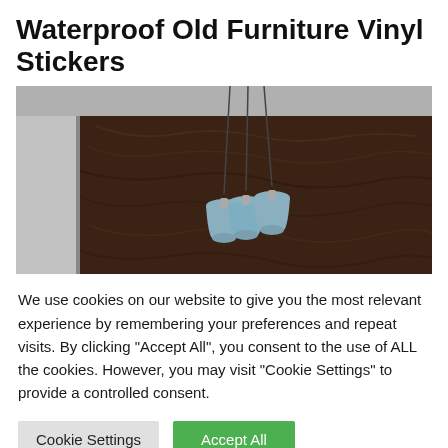Waterproof Old Furniture Vinyl Stickers
[Figure (photo): Product photo showing a dark wood-grain wall panel with three pendant light fixtures hanging from the ceiling, demonstrating the furniture vinyl sticker applied to a surface.]
We use cookies on our website to give you the most relevant experience by remembering your preferences and repeat visits. By clicking "Accept All", you consent to the use of ALL the cookies. However, you may visit "Cookie Settings" to provide a controlled consent.
Cookie Settings  Accept All